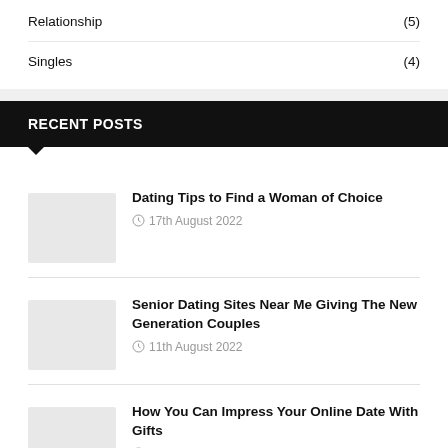Relationship (5)
Singles (4)
RECENT POSTS
Dating Tips to Find a Woman of Choice
17th August 2022
Senior Dating Sites Near Me Giving The New Generation Couples
11th August 2022
How You Can Impress Your Online Date With Gifts
6th August 2022